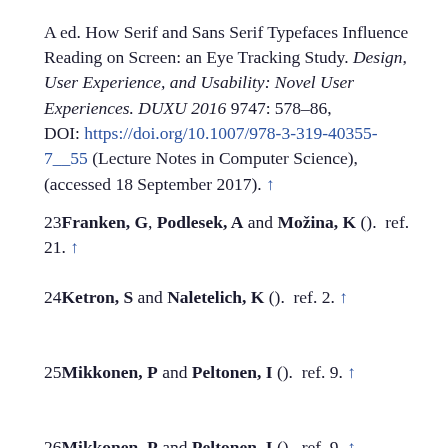A ed. How Serif and Sans Serif Typefaces Influence Reading on Screen: an Eye Tracking Study. Design, User Experience, and Usability: Novel User Experiences. DUXU 2016 9747: 578–86, DOI: https://doi.org/10.1007/978-3-319-40355-7__55 (Lecture Notes in Computer Science), (accessed 18 September 2017). ↑
23 Franken, G, Podlesek, A and Možina, K ().  ref. 21. ↑
24 Ketron, S and Naletelich, K ().  ref. 2. ↑
25 Mikkonen, P and Peltonen, I ().  ref. 9. ↑
26 Mikkonen, P and Peltonen, I ().  ref. 9. ↑